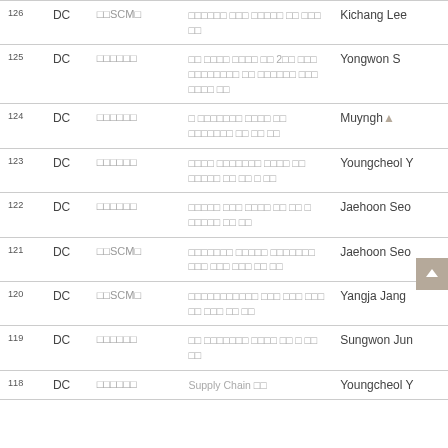| No | Type | Category | Title | Author |
| --- | --- | --- | --- | --- |
| 126 | DC | □□SCM□ | □□□□□□ □□□ □□□□□ □□ □□□ □□ | Kichang Lee |
| 125 | DC | □□□□□□ | □□ □□□□ □□□□ □□ 2□□ □□□ □□□□□□□□ □□ □□□□□□ □□□ □□□□ □□ | Yongwon S |
| 124 | DC | □□□□□□ | □ □□□□□□□ □□□□ □□ □□□□□□□ □□ □□ □□ | Muyngho... |
| 123 | DC | □□□□□□ | □□□□ □□□□□□□ □□□□ □□ □□□□□ □□ □□ □ □□ | Youngcheol Y |
| 122 | DC | □□□□□□ | □□□□□ □□□ □□□□ □□ □□ □ □□□□□ □□ □□ | Jaehoon Seo |
| 121 | DC | □□SCM□ | □□□□□□□ □□□□□ □□□□□□□ □□□ □□□ □□□ □□ □□ | Jaehoon Seo |
| 120 | DC | □□SCM□ | □□□□□□□□□□□ □□□ □□□ □□□ □□ □□□ □□ □□ | Yangja Jang |
| 119 | DC | □□□□□□ | □□ □□□□□□□ □□□□ □□ □ □□ □□ | Sungwon Jun |
| 118 | DC | □□□□□□ | Supply Chain □□ | Youngcheol Y |